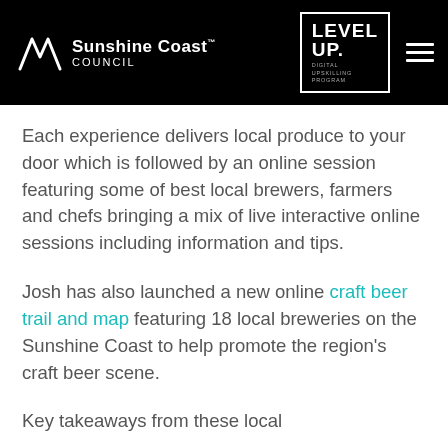Sunshine Coast Council | Level Up Digital Upskilling Program
Each experience delivers local produce to your door which is followed by an online session featuring some of best local brewers, farmers and chefs bringing a mix of live interactive online sessions including information and tips.
Josh has also launched a new online craft beer trail and map featuring 18 local breweries on the Sunshine Coast to help promote the region's craft beer scene.
Key takeaways from these local